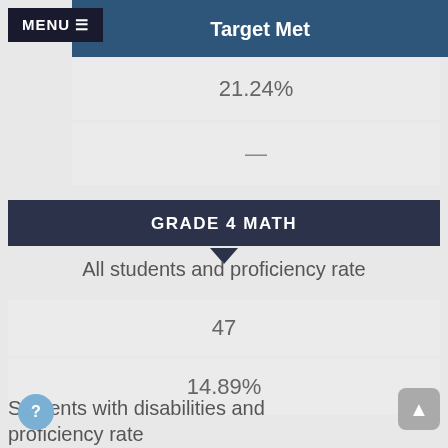Target Met
21.24%
—
GRADE 4 MATH
All students and proficiency rate
47
14.89%
Students with disabilities and proficiency rate